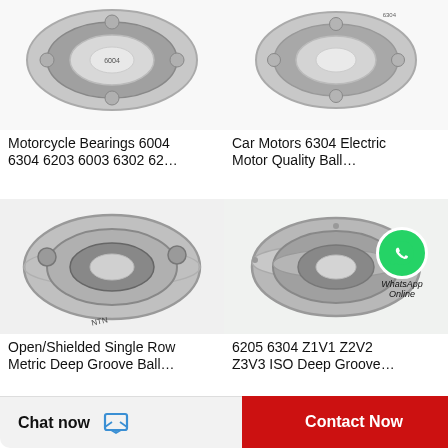[Figure (photo): Motorcycle bearing product photo, partial view of ball bearing from above]
Motorcycle Bearings 6004 6304 6203 6003 6302 62…
[Figure (photo): Car motor ball bearing product photo, partial view]
Car Motors 6304 Electric Motor Quality Ball…
[Figure (photo): Open/Shielded single row metric deep groove ball bearing product photo]
Open/Shielded Single Row Metric Deep Groove Ball…
[Figure (photo): 6205 6304 Z1V1 Z2V2 Z3V3 ISO deep groove ball bearing with WhatsApp Online badge]
6205 6304 Z1V1 Z2V2 Z3V3 ISO Deep Groove…
Chat now
Contact Now